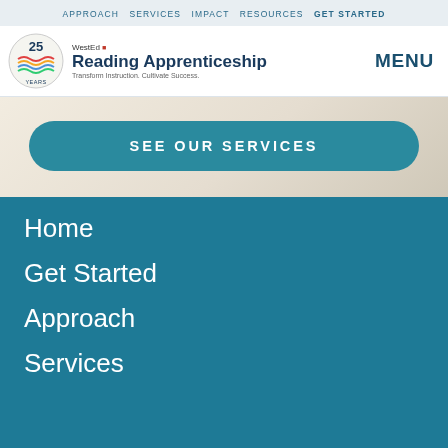APPROACH   SERVICES   IMPACT   RESOURCES   GET STARTED
[Figure (logo): WestEd Reading Apprenticeship 25 Years logo with tagline Transform Instruction. Cultivate Success.]
MENU
SEE OUR SERVICES
Home
Get Started
Approach
Services